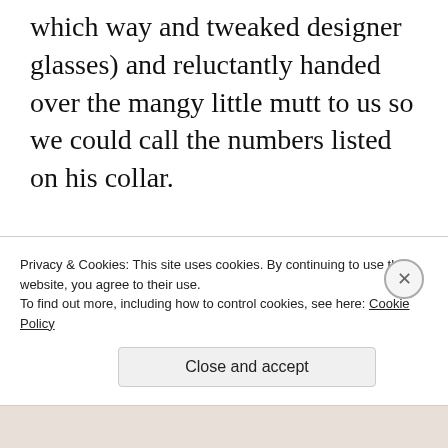which way and tweaked designer glasses) and reluctantly handed over the mangy little mutt to us so we could call the numbers listed on his collar.
After mud wrestling with the little fellow for 5 or so minutes, the Princess finally gets a phone number to call
Privacy & Cookies: This site uses cookies. By continuing to use this website, you agree to their use.
To find out more, including how to control cookies, see here: Cookie Policy
Close and accept